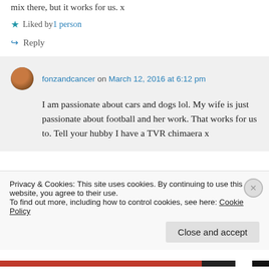mix there, but it works for us. x
★ Liked by 1 person
↪ Reply
fonzandcancer on March 12, 2016 at 6:12 pm
I am passionate about cars and dogs lol. My wife is just passionate about football and her work. That works for us to. Tell your hubby I have a TVR chimaera x
Privacy & Cookies: This site uses cookies. By continuing to use this website, you agree to their use.
To find out more, including how to control cookies, see here: Cookie Policy
Close and accept